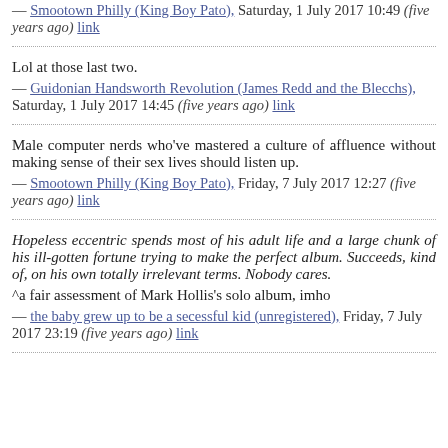— Smootown Philly (King Boy Pato), Saturday, 1 July 2017 10:49 (five years ago) link
Lol at those last two.
— Guidonian Handsworth Revolution (James Redd and the Blecchs), Saturday, 1 July 2017 14:45 (five years ago) link
Male computer nerds who've mastered a culture of affluence without making sense of their sex lives should listen up.
— Smootown Philly (King Boy Pato), Friday, 7 July 2017 12:27 (five years ago) link
Hopeless eccentric spends most of his adult life and a large chunk of his ill-gotten fortune trying to make the perfect album. Succeeds, kind of, on his own totally irrelevant terms. Nobody cares.
^a fair assessment of Mark Hollis's solo album, imho
— the baby grew up to be a secessful kid (unregistered), Friday, 7 July 2017 23:19 (five years ago) link